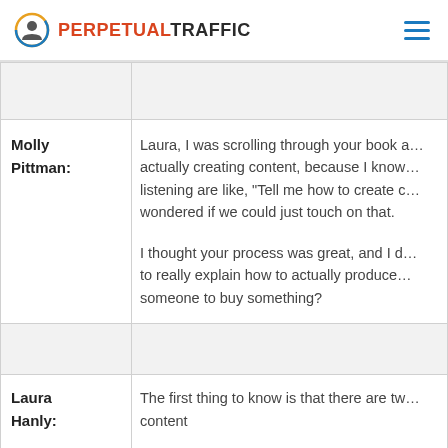PERPETUALTRAFFIC
| Molly Pittman: | Laura, I was scrolling through your book actually creating content, because I know listening are like, "Tell me how to create wondered if we could just touch on that.

I thought your process was great, and I to really explain how to actually produce someone to buy something? |
| Laura Hanly: | The first thing to know is that there are tw content |